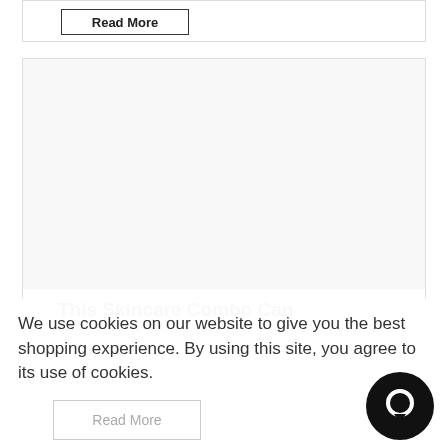Read More
[Figure (other): Large image placeholder area inside a card (white/light gray area)]
This Skincare Combo Can Restore Your Glow
We use cookies on our website to give you the best shopping experience. By using this site, you agree to its use of cookies.
Read More
[Figure (other): Black circular chat/message bubble icon in bottom right corner]